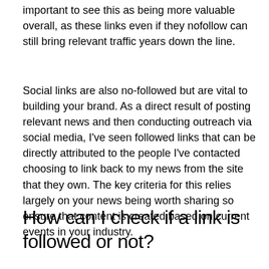important to see this as being more valuable overall, as these links even if they nofollow can still bring relevant traffic years down the line.
Social links are also no-followed but are vital to building your brand. As a direct result of posting relevant news and then conducting outreach via social media, I've seen followed links that can be directly attributed to the people I've contacted choosing to link back to my news from the site that they own. The key criteria for this relies largely on your news being worth sharing so ensure that content is created based on current events in your industry.
How can I check if a link is followed or not?